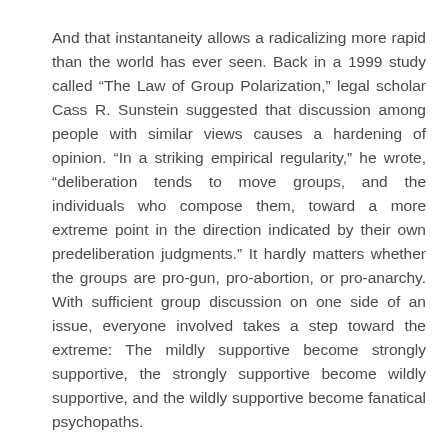And that instantaneity allows a radicalizing more rapid than the world has ever seen. Back in a 1999 study called “The Law of Group Polarization,” legal scholar Cass R. Sunstein suggested that discussion among people with similar views causes a hardening of opinion. “In a striking empirical regularity,” he wrote, “deliberation tends to move groups, and the individuals who compose them, toward a more extreme point in the direction indicated by their own predeliberation judgments.” It hardly matters whether the groups are pro-gun, pro-abortion, or pro-anarchy. With sufficient group discussion on one side of an issue, everyone involved takes a step toward the extreme: The mildly supportive become strongly supportive, the strongly supportive become wildly supportive, and the wildly supportive become fanatical psychopaths.
In such books as Violence and the Sacred (1972) and The Scapegoat (1982), the French-American theorist René Girard offered an explanation for